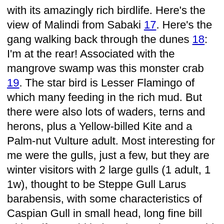with its amazingly rich birdlife. Here's the view of Malindi from Sabaki 17. Here's the gang walking back through the dunes 18: I'm at the rear! Associated with the mangrove swamp was this monster crab 19. The star bird is Lesser Flamingo of which many feeding in the rich mud. But there were also lots of waders, terns and herons, plus a Yellow-billed Kite and a Palm-nut Vulture adult. Most interesting for me were the gulls, just a few, but they are winter visitors with 2 large gulls (1 adult, 1 1w), thought to be Steppe Gull Larus barabensis, with some characteristics of Caspian Gull in small head, long fine bill with uniform-width, long legs. These would be from the N but there was another large very dark gull, an adult Kelp Gull, from the S, maybe RSA. A further large gull was a 2w Heuglin's Gull with shorter legs than the Steppe Gull, standing near the 1w Steppe. Also had 29 Sooty Gull, the main local species; it's a very dark gull so easy to pick out. On the road we went through Mambrui at 11:20 where picked up 2 Black Kite and a Yellow-billed Kite, lurking by side of road, up in air. Next stop was further N again to the Gongoni Salt Pans from 11:45-12:10...